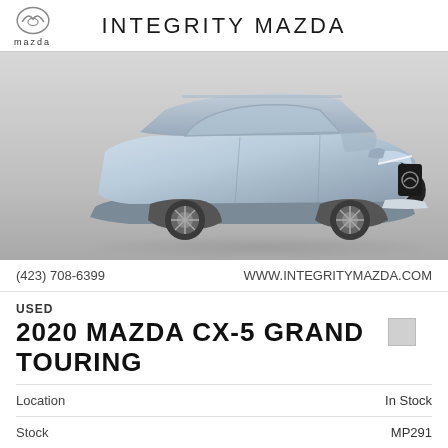INTEGRITY MAZDA
[Figure (photo): Silver 2020 Mazda CX-5 Grand Touring SUV photographed in a studio setting against a light grey background, three-quarter front view from driver's side.]
(423) 708-6399    WWW.INTEGRITYMAZDA.COM
USED
2020 MAZDA CX-5 GRAND TOURING
|  |  |
| --- | --- |
| Location | In Stock |
| Stock | MP291 |